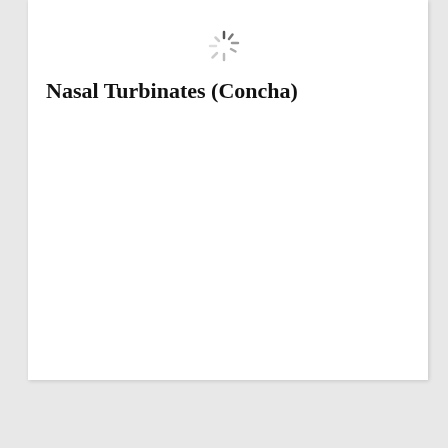[Figure (other): Loading spinner icon (circular dashes pattern)]
Nasal Turbinates (Concha)